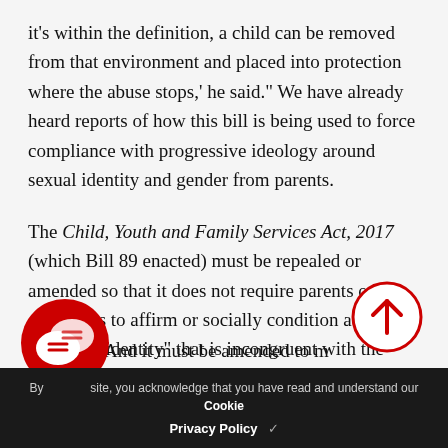it's within the definition, a child can be removed from that environment and placed into protection where the abuse stops,' he said." We have already heard reports of how this bill is being used to force compliance with progressive ideology around sexual identity and gender from parents. The Child, Youth and Family Services Act, 2017 (which Bill 89 enacted) must be repealed or amended so that it does not require parents or caregivers to affirm or socially condition a child in a "gender identity" that is incongruent with the child's birth sex or to provide access to "treatments" for gender dysphoria such as puberty blockers or cross hormone treatments. And it must be amended to make...
By using this site, you acknowledge that you have read and understand our Cookie Privacy Policy ✓